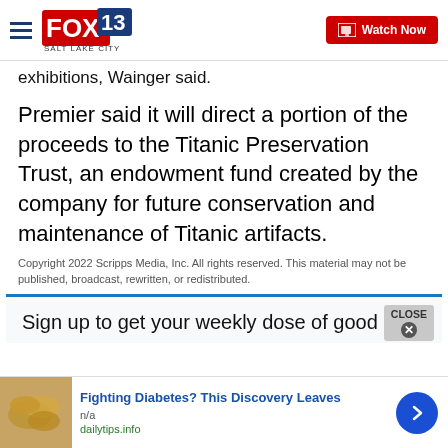FOX 13 SALT LAKE CITY — Watch Now
exhibitions, Wainger said.
Premier said it will direct a portion of the proceeds to the Titanic Preservation Trust, an endowment fund created by the company for future conservation and maintenance of Titanic artifacts.
Copyright 2022 Scripps Media, Inc. All rights reserved. This material may not be published, broadcast, rewritten, or redistributed.
Sign up to get your weekly dose of good
Fighting Diabetes? This Discovery Leaves
n/a
dailytips.info